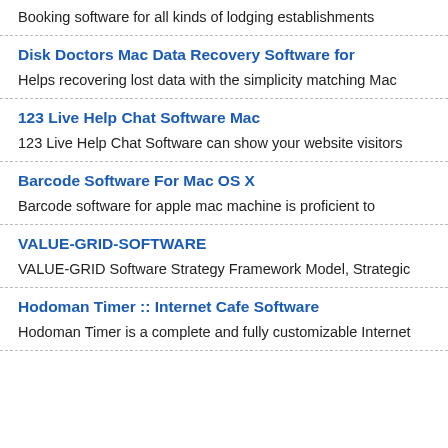Booking software for all kinds of lodging establishments
Disk Doctors Mac Data Recovery Software for
Helps recovering lost data with the simplicity matching Mac
123 Live Help Chat Software Mac
123 Live Help Chat Software can show your website visitors
Barcode Software For Mac OS X
Barcode software for apple mac machine is proficient to
VALUE-GRID-SOFTWARE
VALUE-GRID Software Strategy Framework Model, Strategic
Hodoman Timer :: Internet Cafe Software
Hodoman Timer is a complete and fully customizable Internet